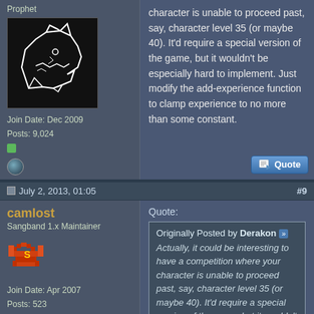Prophet
[Figure (illustration): Black square avatar with a white wolf/shark head drawing]
Join Date: Dec 2009
Posts: 9,024
character is unable to proceed past, say, character level 35 (or maybe 40). It'd require a special version of the game, but it wouldn't be especially hard to implement. Just modify the add-experience function to clamp experience to no more than some constant.
July 2, 2013, 01:05
#9
camlost
Sangband 1.x Maintainer
[Figure (illustration): Pixel art avatar of a red dragon with 'S' letter]
Join Date: Apr 2007
Posts: 523
Quote:
Originally Posted by Derakon
Actually, it could be interesting to have a competition where your character is unable to proceed past, say, character level 35 (or maybe 40). It'd require a special version of the game, but it wouldn't be especially hard to implement. Just modify